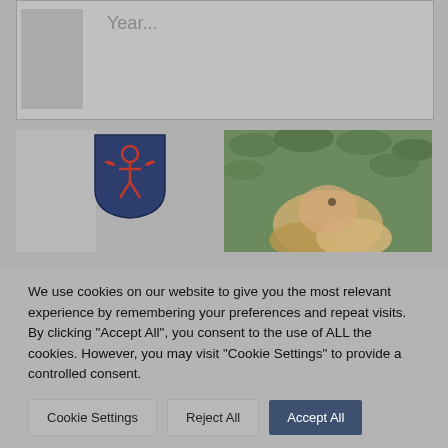[Figure (screenshot): Top image area showing 'Year...' placeholder text with a small portrait thumbnail on the left, gray background]
[Figure (screenshot): Second row with left gray panel, a shield/crest logo in the center-left (dark blue with red figure), and a photo of a blonde woman among green leaves on the right]
We use cookies on our website to give you the most relevant experience by remembering your preferences and repeat visits. By clicking "Accept All", you consent to the use of ALL the cookies. However, you may visit "Cookie Settings" to provide a controlled consent.
Cookie Settings | Reject All | Accept All